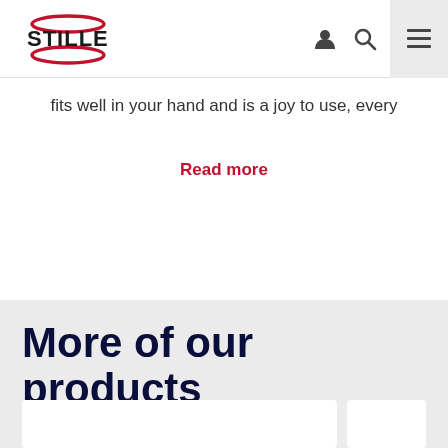[Figure (logo): Stille brand logo with red swoosh/lines and bold black STILLE text]
fits well in your hand and is a joy to use, every
Read more
More of our products